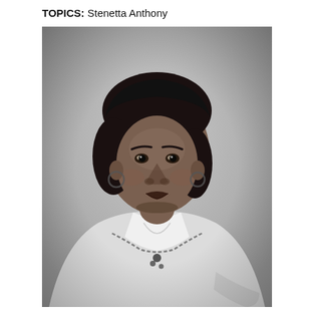TOPICS:   Stenetta Anthony
[Figure (photo): Black and white portrait photograph of Stenetta Anthony, a woman wearing a white blouse and necklace, looking slightly to the side, with a neutral fabric backdrop.]